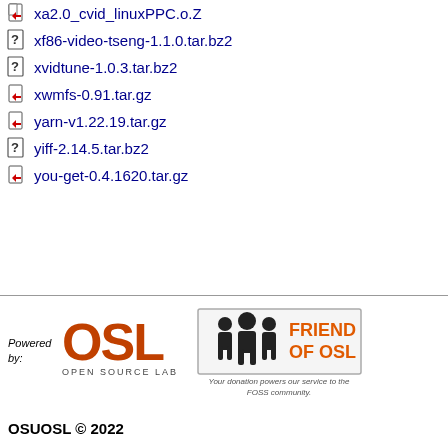xa2.0_cvid_linuxPPC.o.Z
xf86-video-tseng-1.1.0.tar.bz2
xvidtune-1.0.3.tar.bz2
xwmfs-0.91.tar.gz
yarn-v1.22.19.tar.gz
yiff-2.14.5.tar.bz2
you-get-0.4.1620.tar.gz
[Figure (logo): OSL Open Source Lab logo in orange/brown]
[Figure (logo): Friend of OSL badge with person icons and orange text]
Powered by:
Your donation powers our service to the FOSS community.
OSUOSL © 2022